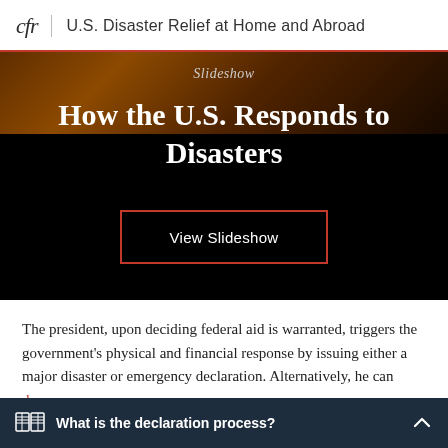cfr | U.S. Disaster Relief at Home and Abroad
[Figure (screenshot): Slideshow banner with dark background showing text 'Slideshow' and title 'How the U.S. Responds to Disasters' with a 'View Slideshow' button outlined in red-orange.]
The president, upon deciding federal aid is warranted, triggers the government's physical and financial response by issuing either a major disaster or emergency declaration. Alternatively, he can deny
What is the declaration process?